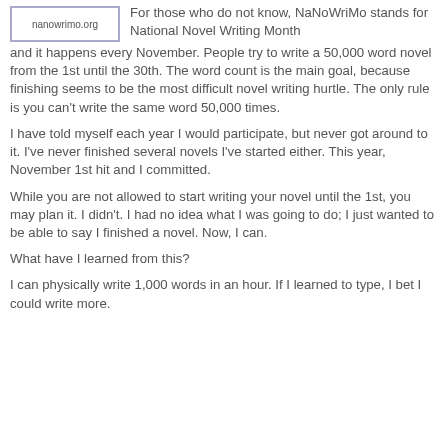[Figure (logo): NaNoWriMo logo box with text 'nanowrimo.org']
For those who do not know, NaNoWriMo stands for National Novel Writing Month and it happens every November. People try to write a 50,000 word novel from the 1st until the 30th. The word count is the main goal, because finishing seems to be the most difficult novel writing hurtle. The only rule is you can't write the same word 50,000 times.
I have told myself each year I would participate, but never got around to it. I've never finished several novels I've started either. This year, November 1st hit and I committed.
While you are not allowed to start writing your novel until the 1st, you may plan it. I didn't. I had no idea what I was going to do; I just wanted to be able to say I finished a novel. Now, I can.
What have I learned from this?
I can physically write 1,000 words in an hour. If I learned to type, I bet I could write more.